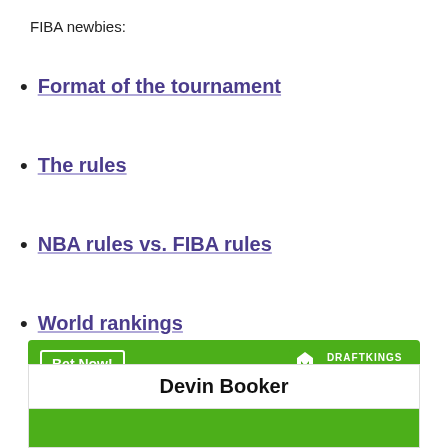FIBA newbies:
Format of the tournament
The rules
NBA rules vs. FIBA rules
World rankings
[Figure (other): DraftKings Sportsbook banner with green background, 'Bet Now!' button, DraftKings logo and text]
| Devin Booker |
| --- |
|  |